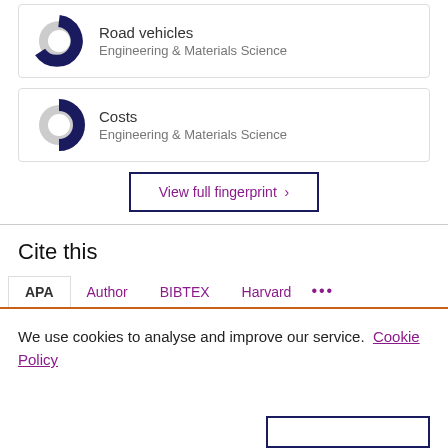[Figure (donut-chart): Donut chart showing approximately 60% fill, dark navy blue, for Road vehicles - Engineering & Materials Science]
Road vehicles
Engineering & Materials Science
[Figure (donut-chart): Donut chart showing approximately 40% fill, dark navy blue, for Costs - Engineering & Materials Science]
Costs
Engineering & Materials Science
View full fingerprint ›
Cite this
APA  Author  BIBTEX  Harvard  ...
We use cookies to analyse and improve our service. Cookie Policy